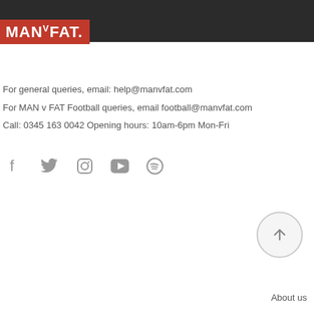[Figure (logo): MAN v FAT logo — white bold text on red/pink background with dark header bar]
For general queries, email: help@manvfat.com
For MAN v FAT Football queries, email football@manvfat.com
Call: 0345 163 0042 Opening hours: 10am-6pm Mon-Fri
[Figure (illustration): Social media icons: Facebook, Twitter, Instagram, YouTube, Spotify — all in grey]
[Figure (illustration): Circular scroll-to-top button with upward arrow]
About us